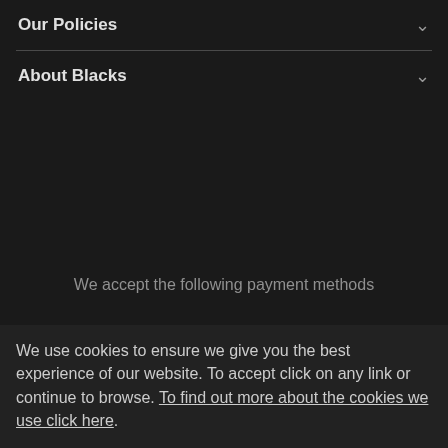Our Policies
About Blacks
We accept the following payment methods
PayPal Credit and PayPal Pay in 3 are trading names of PayPal (Europe) S.à r.l. et Cie, S.C.A. 22-24 Boulevard Royal, L-2449, Luxembourg. PayPal Credit: T...
We use cookies to ensure we give you the best experience of our website. To accept click on any link or continue to browse. To find out more about the cookies we use click here.